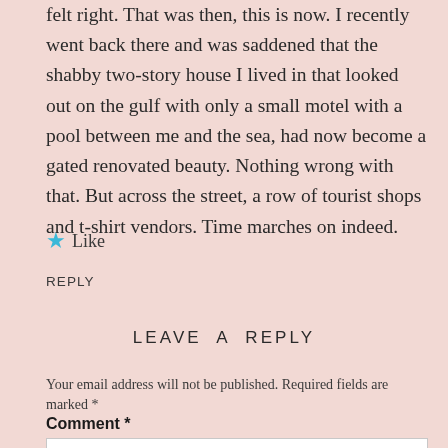felt right. That was then, this is now. I recently went back there and was saddened that the shabby two-story house I lived in that looked out on the gulf with only a small motel with a pool between me and the sea, had now become a gated renovated beauty. Nothing wrong with that. But across the street, a row of tourist shops and t-shirt vendors. Time marches on indeed.
★ Like
REPLY
LEAVE A REPLY
Your email address will not be published. Required fields are marked *
Comment *